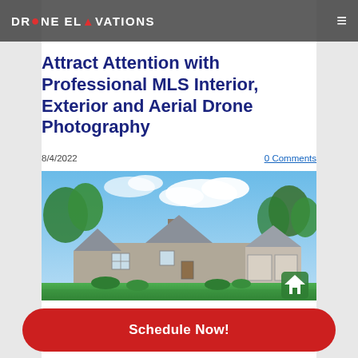DRONE ELEVATIONS
Attract Attention with Professional MLS Interior, Exterior and Aerial Drone Photography
8/4/2022
0 Comments
[Figure (photo): Exterior photo of a large suburban house with steep gabled roof, attached garage, surrounded by green lawn and mature trees under a blue sky with clouds. A small green home icon appears in the bottom-right corner of the image.]
Schedule Now!